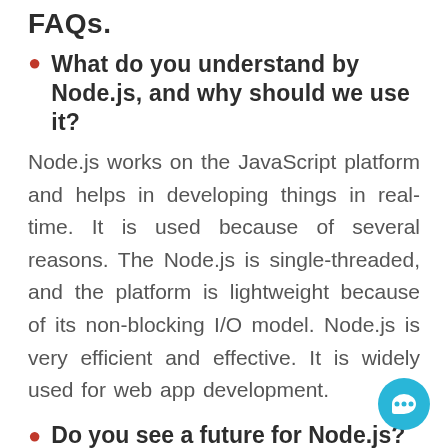FAQs.
What do you understand by Node.js, and why should we use it?
Node.js works on the JavaScript platform and helps in developing things in real-time. It is used because of several reasons. The Node.js is single-threaded, and the platform is lightweight because of its non-blocking I/O model. Node.js is very efficient and effective. It is widely used for web app development.
Do you see a future for Node.js?
There is no doubt that there is a future